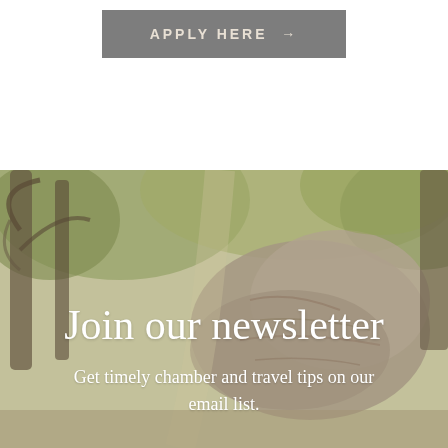[Figure (other): Gray button with text APPLY HERE and right arrow]
[Figure (photo): Background nature photo showing trees with green foliage and rocky terrain, muted/faded tones]
Join our newsletter
Get timely chamber and travel tips on our email list.